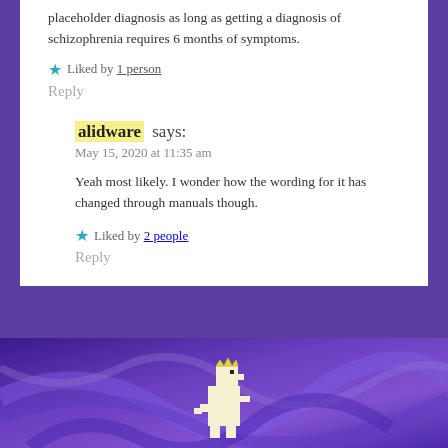placeholder diagnosis as long as getting a diagnosis of schizophrenia requires 6 months of symptoms.
Liked by 1 person
Reply
alidware says:
May 15, 2020 at 11:35 am
Yeah most likely. I wonder how the wording for it has changed through manuals though.
Liked by 2 people
Reply
[Figure (illustration): Purple and blue abstract swirling background with a pixel art dinosaur figure at the bottom center]